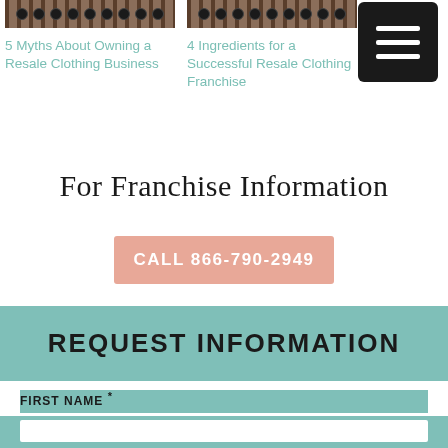[Figure (photo): Thumbnail image of clothing items on a rack, dark background with circular buttons/fasteners visible]
5 Myths About Owning a Resale Clothing Business
[Figure (photo): Thumbnail image of clothing items on a rack, dark background with circular buttons/fasteners visible]
4 Ingredients for a Successful Resale Clothing Franchise
[Figure (other): Black hamburger menu button icon with three white horizontal lines]
For Franchise Information
CALL 866-790-2949
REQUEST INFORMATION
FIRST NAME *